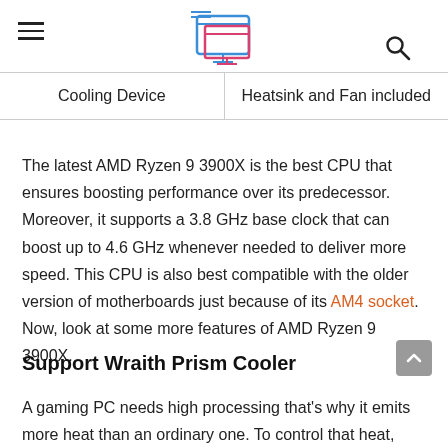[Logo: computer monitor icon with gradient]
| Cooling Device | Heatsink and Fan included |
The latest AMD Ryzen 9 3900X is the best CPU that ensures boosting performance over its predecessor. Moreover, it supports a 3.8 GHz base clock that can boost up to 4.6 GHz whenever needed to deliver more speed. This CPU is also best compatible with the older version of motherboards just because of its AM4 socket. Now, look at some more features of AMD Ryzen 9 3900X.
Support Wraith Prism Cooler
A gaming PC needs high processing that's why it emits more heat than an ordinary one. To control that heat, AMD Ryzen